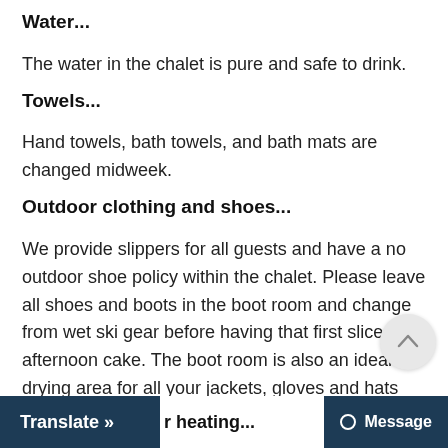Water...
The water in the chalet is pure and safe to drink.
Towels...
Hand towels, bath towels, and bath mats are changed midweek.
Outdoor clothing and shoes...
We provide slippers for all guests and have a no outdoor shoe policy within the chalet. Please leave all shoes and boots in the boot room and change from wet ski gear before having that first slice of afternoon cake. The boot room is also an ideal drying area for all your jackets, gloves and hats ready for the next day.
...r heating...
Translate »
Message